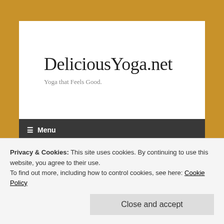DeliciousYoga.net
Yoga that Feels Good.
≡ Menu
About Susana
Privacy & Cookies: This site uses cookies. By continuing to use this website, you agree to their use.
To find out more, including how to control cookies, see here: Cookie Policy
Close and accept